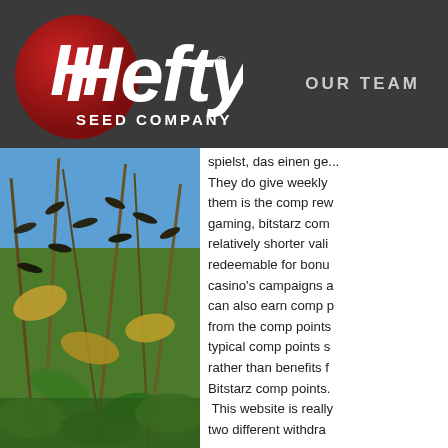[Figure (logo): Hefty Seed Company logo — red circle with white 'Hefty' in large italic bold text, 'SEED COMPANY' below in smaller white caps, on dark grey header background]
OUR TEAM
[Figure (photo): Close-up photo of soybean plants with dry pods against a blue sky]
spielst, das einen ge... They do give weekly them is the comp rew gaming, bitstarz com relatively shorter vali redeemable for bonu casino's campaigns a can also earn comp p from the comp points typical comp points s rather than benefits f Bitstarz comp points. This website is really two different withdra